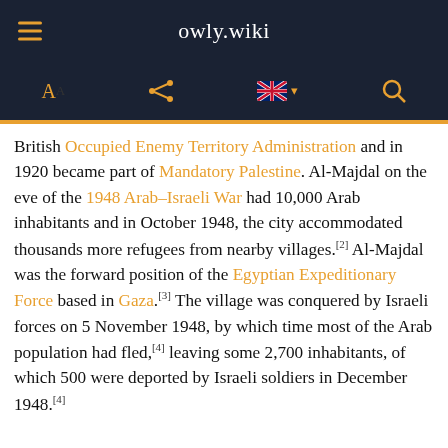owly.wiki
British Occupied Enemy Territory Administration and in 1920 became part of Mandatory Palestine. Al-Majdal on the eve of the 1948 Arab–Israeli War had 10,000 Arab inhabitants and in October 1948, the city accommodated thousands more refugees from nearby villages.[2] Al-Majdal was the forward position of the Egyptian Expeditionary Force based in Gaza.[3] The village was conquered by Israeli forces on 5 November 1948, by which time most of the Arab population had fled,[4] leaving some 2,700 inhabitants, of which 500 were deported by Israeli soldiers in December 1948.[4]